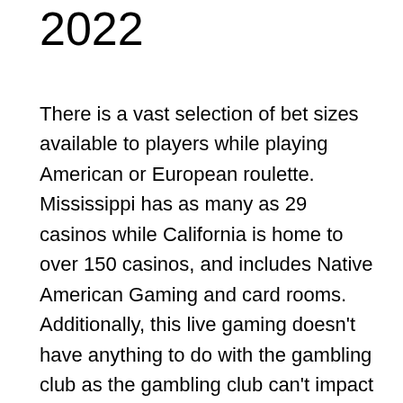2022
There is a vast selection of bet sizes available to players while playing American or European roulette. Mississippi has as many as 29 casinos while California is home to over 150 casinos, and includes Native American Gaming and card rooms. Additionally, this live gaming doesn't have anything to do with the gambling club as the gambling club can't impact the game or the game coordinator in any capacity. JOINGO is scheduled to be available sometime during the first quarter of 2021. Attached to the casino, the Grand Hinckley Hotel has 563 rooms; it is the tallest building between The Twin Cities and The Twin Ports on the list of tallest buildings in Minnesota. Check the bonus in your casino cashier. If you are using the mobile app, Still the same just click the link above. The Referee gets a bonus when he or she registers an account at the casino and mentions the Referrer. Check